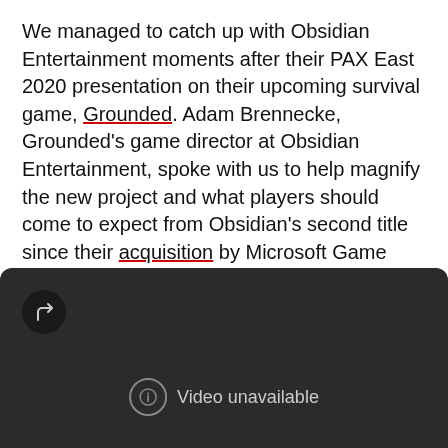We managed to catch up with Obsidian Entertainment moments after their PAX East 2020 presentation on their upcoming survival game, Grounded. Adam Brennecke, Grounded's game director at Obsidian Entertainment, spoke with us to help magnify the new project and what players should come to expect from Obsidian's second title since their acquisition by Microsoft Game Studios. I opened up our ten-minute conversation with Adam to get a quick pitch on the unique premise for Grounded.
[Figure (screenshot): Dark video player box showing 'Video unavailable' message with a share/export icon button in the top-left corner and an info icon next to the text.]